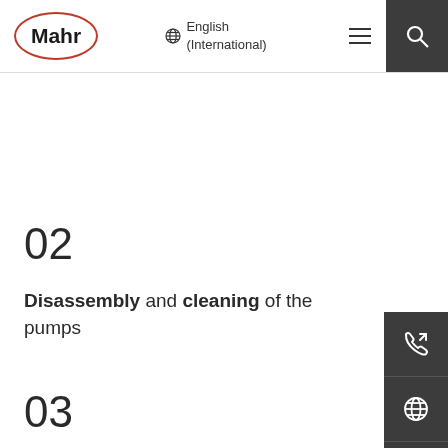[Figure (logo): Mahr company logo: bold text 'Mahr' inside a red oval outline]
🌐 English (International)
02
Disassembly and cleaning of the pumps
03